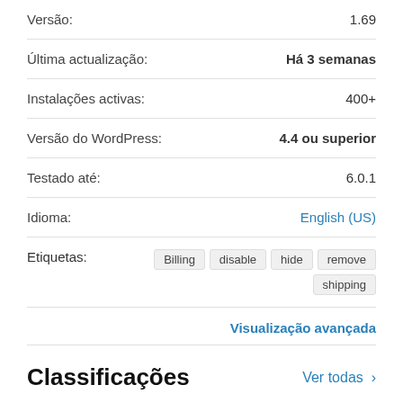| Campo | Valor |
| --- | --- |
| Versão: | 1.69 |
| Última actualização: | Há 3 semanas |
| Instalações activas: | 400+ |
| Versão do WordPress: | 4.4 ou superior |
| Testado até: | 6.0.1 |
| Idioma: | English (US) |
| Etiquetas: | Billing  disable  hide  remove  shipping |
Visualização avançada
Classificações
Ver todas >
[Figure (other): Five gold stars rating]